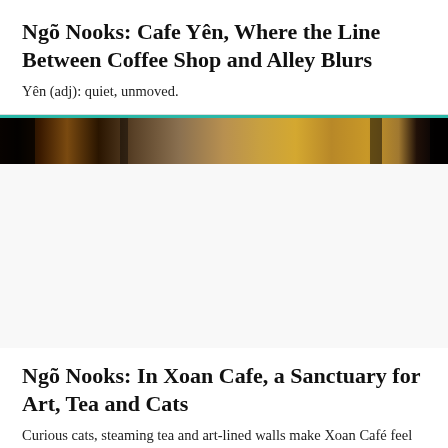Ngõ Nooks: Cafe Yên, Where the Line Between Coffee Shop and Alley Blurs
Yên (adj): quiet, unmoved.
[Figure (photo): A narrow horizontal photo strip showing the interior or exterior of Cafe Yên, featuring warm amber and dark tones with shelving and cafe decor visible.]
Ngõ Nooks: In Xoan Cafe, a Sanctuary for Art, Tea and Cats
Curious cats, steaming tea and art-lined walls make Xoan Café feel like a home away from home.